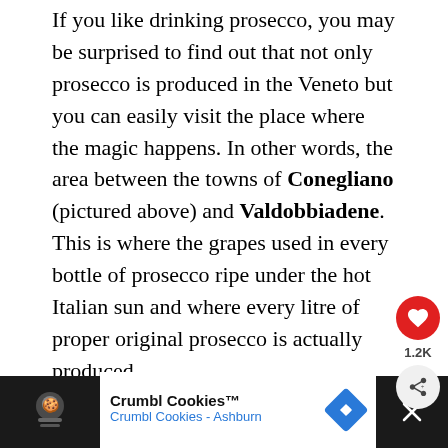If you like drinking prosecco, you may be surprised to find out that not only prosecco is produced in the Veneto but you can easily visit the place where the magic happens. In other words, the area between the towns of Conegliano (pictured above) and Valdobbiadene. This is where the grapes used in every bottle of prosecco ripe under the hot Italian sun and where every litre of proper original prosecco is actually produced.

Prosecco Country is a beautiful area of vine-draped hillsides. You can easily reach Coneglia... by train from Venice and Padua. The onwards ...
[Figure (other): Social widget with heart/like button showing 1.2K and a share button]
[Figure (other): Advertisement banner for Crumbl Cookies - Crumbl Cookies Ashburn with dark icon area, blue navigation arrow icon, and close X button]